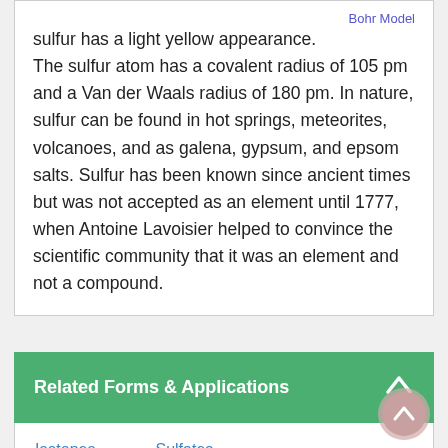sulfur has a light yellow appearance. The sulfur atom has a covalent radius of 105 pm and a Van der Waals radius of 180 pm. In nature, sulfur can be found in hot springs, meteorites, volcanoes, and as galena, gypsum, and epsom salts. Sulfur has been known since ancient times but was not accepted as an element until 1777, when Antoine Lavoisier helped to convince the scientific community that it was an element and not a compound.
Related Forms & Applications
Isotopes
Sulfates